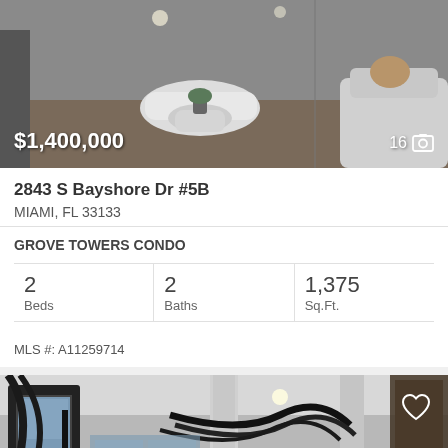[Figure (photo): Interior photo of a modern living room with white furniture, a round coffee table, and a decorative vase. Price overlay $1,400,000 and photo count 16.]
2843 S Bayshore Dr #5B
MIAMI, FL 33133
GROVE TOWERS CONDO
| Beds | Baths | Sq.Ft. |
| --- | --- | --- |
| 2 | 2 | 1,375 |
MLS #: A11259714
[Figure (photo): Interior photo of a luxury condo showing an open plan living area with columns, mirrors, and city views through large windows. Accessibility icon in bottom left, heart icon in top right.]